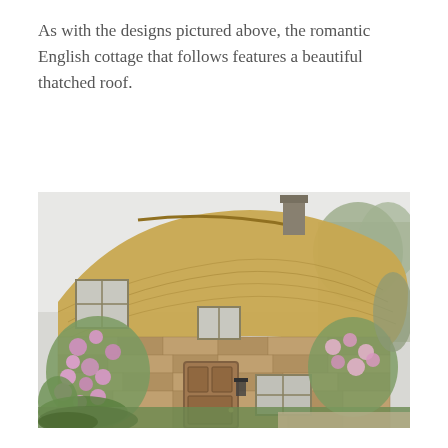As with the designs pictured above, the romantic English cottage that follows features a beautiful thatched roof.
[Figure (photo): A romantic English cottage with a curved thatched roof, stone walls, wooden front door, and flowering climbing roses (pink) surrounding the entrance and walls, with lush green garden plants.]